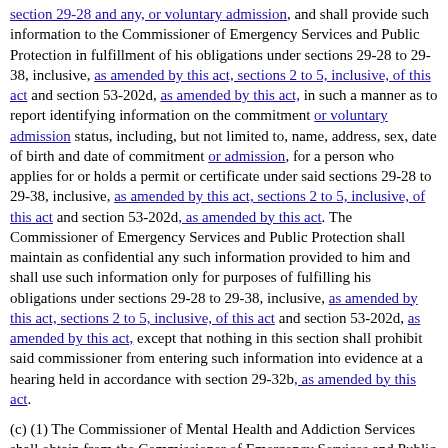section 29-28 and any, or voluntary admission, and shall provide such information to the Commissioner of Emergency Services and Public Protection in fulfillment of his obligations under sections 29-28 to 29-38, inclusive, as amended by this act, sections 2 to 5, inclusive, of this act and section 53-202d, as amended by this act, in such a manner as to report identifying information on the commitment or voluntary admission status, including, but not limited to, name, address, sex, date of birth and date of commitment or admission, for a person who applies for or holds a permit or certificate under said sections 29-28 to 29-38, inclusive, as amended by this act, sections 2 to 5, inclusive, of this act and section 53-202d, as amended by this act. The Commissioner of Emergency Services and Public Protection shall maintain as confidential any such information provided to him and shall use such information only for purposes of fulfilling his obligations under sections 29-28 to 29-38, inclusive, as amended by this act, sections 2 to 5, inclusive, of this act and section 53-202d, as amended by this act, except that nothing in this section shall prohibit said commissioner from entering such information into evidence at a hearing held in accordance with section 29-32b, as amended by this act.
(c) (1) The Commissioner of Mental Health and Addiction Services shall obtain from the Commissioner of Emergency Services and Public Protection the status of any firearm application, permit or certificate under sections 29-28 to 29-38,